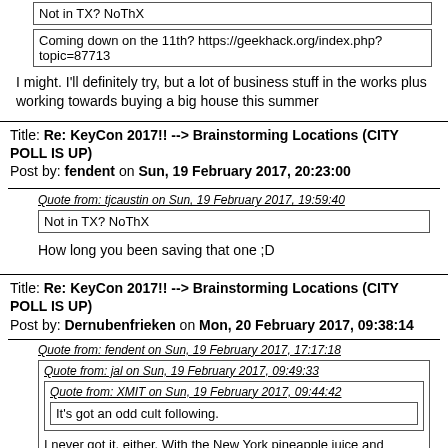Not in TX?  NoThX
Coming down on the 11th? https://geekhack.org/index.php?topic=87713
I might.  I'll definitely try, but a lot of business stuff in the works plus working towards buying a big house this summer
Title: Re: KeyCon 2017!! --> Brainstorming Locations (CITY POLL IS UP)
Post by: fendent on Sun, 19 February 2017, 20:23:00
Quote from: tjcaustin on Sun, 19 February 2017, 19:59:40
Not in TX?  NoThX
How long you been saving that one  ;D
Title: Re: KeyCon 2017!! --> Brainstorming Locations (CITY POLL IS UP)
Post by: Dernubenfrieken on Mon, 20 February 2017, 09:38:14
Quote from: fendent on Sun, 19 February 2017, 17:17:18
Quote from: jal on Sun, 19 February 2017, 09:49:33
Quote from: XMIT on Sun, 19 February 2017, 09:44:42
It's got an odd cult following.
I never got it, either. With the New York pineapple juice and hotdog thing, at least there's the sugar-protein high. (I mean, I find it gross, but there's a payoff, at least.)